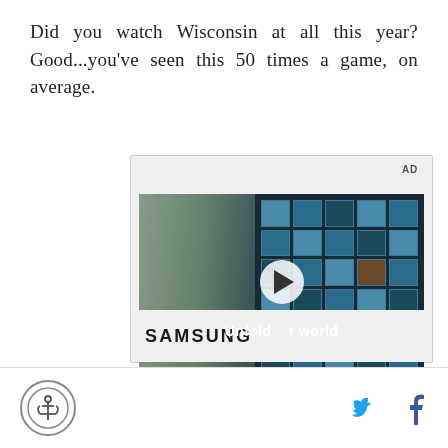Did you watch Wisconsin at all this year? Good...you've seen this 50 times a game, on average.
[Figure (screenshot): Advertisement banner featuring a Samsung video ad with a young man standing in front of a blue tiled wall in a cafeteria-style setting. A play button is overlaid on the video thumbnail. Text reads 'Unfold your world'. Samsung logo shown below the video.]
Anchor logo icon on the left, Twitter and Facebook social media icons on the right